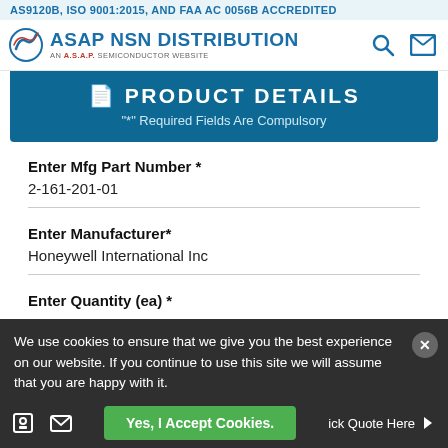AS9120B, ISO 9001:2015, AND FAA AC 0056B ACCREDITED
[Figure (logo): ASAP NSN Distribution logo with swirl icon and tagline: AN A.S.A.P. SEMICONDUCTOR WEBSITE]
PRODUCT DETAILS
"*" Required Fields Are Compulsory
Enter Mfg Part Number *
2-161-201-01
Enter Manufacturer*
Honeywell International Inc
Enter Quantity (ea) *
We use cookies to ensure that we give you the best experience on our website. If you continue to use this site we will assume that you are happy with it.
Yes, I Accept Cookies.
ick Quote Here